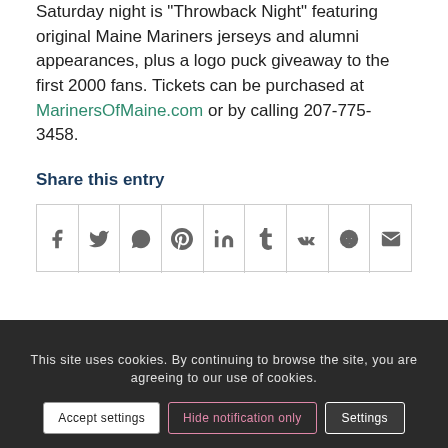Saturday night is 'Throwback Night' featuring original Maine Mariners jerseys and alumni appearances, plus a logo puck giveaway to the first 2000 fans. Tickets can be purchased at MarinersOfMaine.com or by calling 207-775-3458.
Share this entry
[Figure (other): Social share icon bar with icons for Facebook, Twitter, WhatsApp, Pinterest, LinkedIn, Tumblr, VK, Reddit, and Email]
This site uses cookies. By continuing to browse the site, you are agreeing to our use of cookies.
Accept settings | Hide notification only | Settings